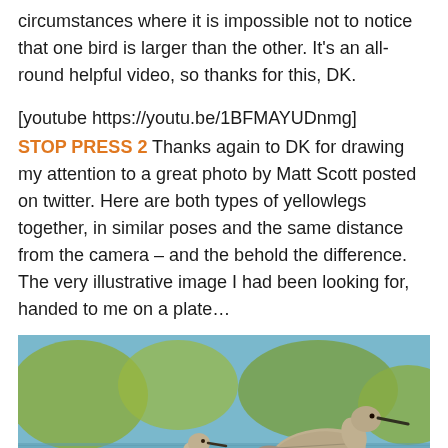circumstances where it is impossible not to notice that one bird is larger than the other. It's an all-round helpful video, so thanks for this, DK.
[youtube https://youtu.be/1BFMAYUDnmg]
STOP PRESS 2 Thanks again to DK for drawing my attention to a great photo by Matt Scott posted on twitter. Here are both types of yellowlegs together, in similar poses and the same distance from the camera – and the behold the difference. The very illustrative image I had been looking for, handed to me on a plate…
[Figure (photo): Photo of two yellowlegs shorebirds standing in shallow water. A smaller bird is on the left and a larger bird is on the right, both with yellow legs visible. Background shows blurred green vegetation and blue water.]